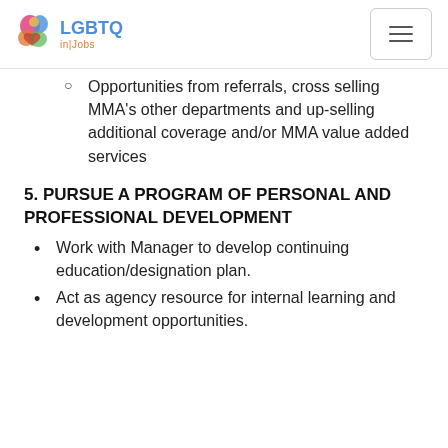LGBTQ in Jobs
Opportunities from referrals, cross selling MMA's other departments and up-selling additional coverage and/or MMA value added services
5. PURSUE A PROGRAM OF PERSONAL AND PROFESSIONAL DEVELOPMENT
Work with Manager to develop continuing education/designation plan.
Act as agency resource for internal learning and development opportunities.